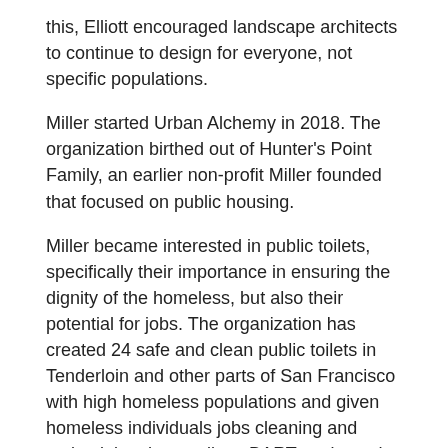this, Elliott encouraged landscape architects to continue to design for everyone, not specific populations.
Miller started Urban Alchemy in 2018. The organization birthed out of Hunter's Point Family, an earlier non-profit Miller founded that focused on public housing.
Miller became interested in public toilets, specifically their importance in ensuring the dignity of the homeless, but also their potential for jobs. The organization has created 24 safe and clean public toilets in Tenderloin and other parts of San Francisco with high homeless populations and given homeless individuals jobs cleaning and maintaining those toilets, BART stations, the Civic Center area, downtown streets, and parks.
Urban Alchemy works with long-term offenders, integrating them back into society in order to prevent them from experiencing homelessness. Miller pointed to their high levels of emotional intelligence, their ability to